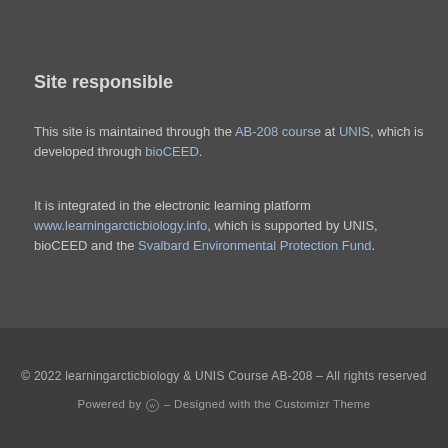Site responsible
This site is maintained through the AB-208 course at UNIS, which is developed through bioCEED.
It is integrated in the electronic learning platform www.learningarcticbiology.info, which is supported by UNIS, bioCEED and the Svalbard Environmental Protection Fund.
© 2022 learningarcticbiology & UNIS Course AB-208 – All rights reserved
Powered by WordPress – Designed with the Customizr Theme